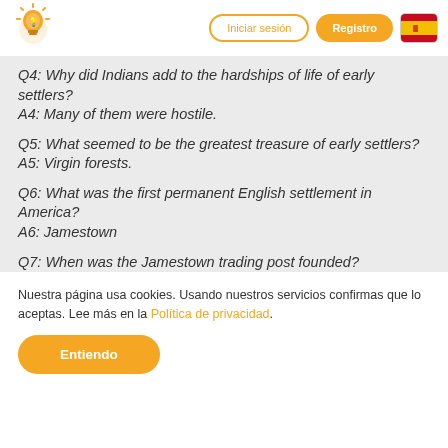[Figure (logo): Lightbulb brain logo icon in orange/yellow]
Iniciar sesión
Registro
[Figure (illustration): Spanish flag icon]
Q4: Why did Indians add to the hardships of life of early settlers?
A4: Many of them were hostile.
Q5: What seemed to be the greatest treasure of early settlers?
A5: Virgin forests.
Q6: What was the first permanent English settlement in America?
A6: Jamestown
Q7: When was the Jamestown trading post founded?
Nuestra página usa cookies. Usando nuestros servicios confirmas que lo aceptas. Lee más en la Política de privacidad.
Entiendo